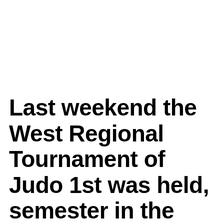Last weekend the West Regional Tournament of Judo 1st was held, semester in the